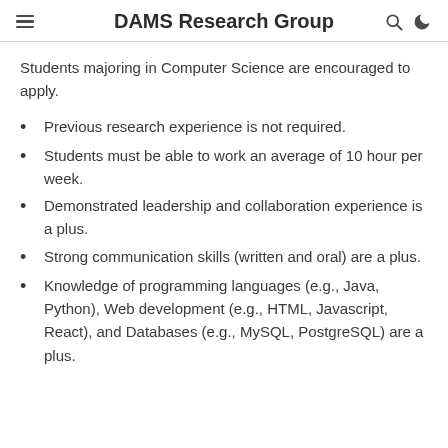DAMS Research Group
Students majoring in Computer Science are encouraged to apply.
Previous research experience is not required.
Students must be able to work an average of 10 hour per week.
Demonstrated leadership and collaboration experience is a plus.
Strong communication skills (written and oral) are a plus.
Knowledge of programming languages (e.g., Java, Python), Web development (e.g., HTML, Javascript, React), and Databases (e.g., MySQL, PostgreSQL) are a plus.